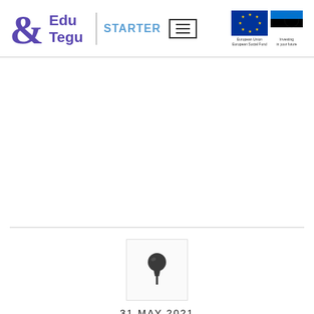Edu Tegu | STARTER
[Figure (logo): Edu Tegu Starter logo with ampersand symbol, divider, STARTER text, menu icon, EU flag and Estonian flag with funding text]
[Figure (illustration): Pin/thumbtack icon in a bordered box]
31 MAY 2021